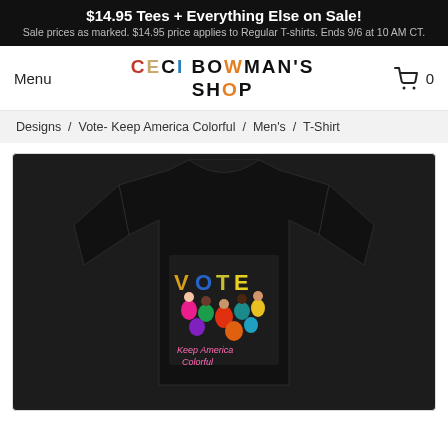$14.95 Tees + Everything Else on Sale! Sale prices as marked. $14.95 price applies to Regular T-shirts. Ends 9/6 at 10 AM CT.
CECI BOWMAN'S SHOP
Menu
0
Designs / Vote- Keep America Colorful / Men's / T-Shirt
[Figure (photo): A black t-shirt with a colorful 'VOTE' graphic showing diverse people and text 'Keep America Colorful']